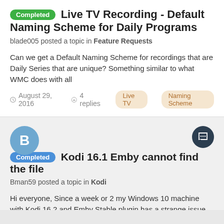Completed Live TV Recording - Default Naming Scheme for Daily Programs
blade005 posted a topic in Feature Requests
Can we get a Default Naming Scheme for recordings that are Daily Series that are unique? Something similar to what WMC does with all
August 29, 2016  4 replies  Live TV  Naming Scheme
Completed Kodi 16.1 Emby cannot find the file
Bman59 posted a topic in Kodi
Hi everyone, Since a week or 2 my Windows 10 machine with Kodi 16.2 and Emby Stable plugin has a strange issue when emby starts. I use
August 1, 2016  13 replies